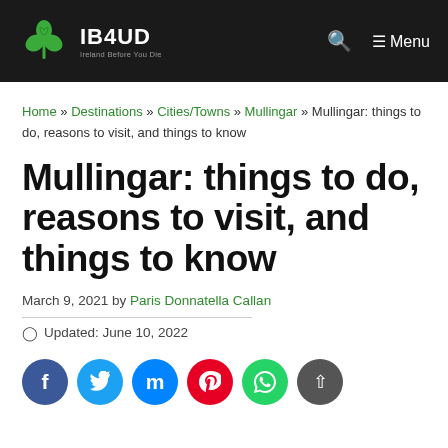IB4UD Ireland Before You Die — Menu
Home » Destinations » Cities/Towns » Mullingar » Mullingar: things to do, reasons to visit, and things to know
Mullingar: things to do, reasons to visit, and things to know
March 9, 2021 by Paris Donnatella Callan
Updated: June 10, 2022
[Figure (other): Social share buttons: Facebook, Twitter, Messenger, Pinterest, WhatsApp, Share]